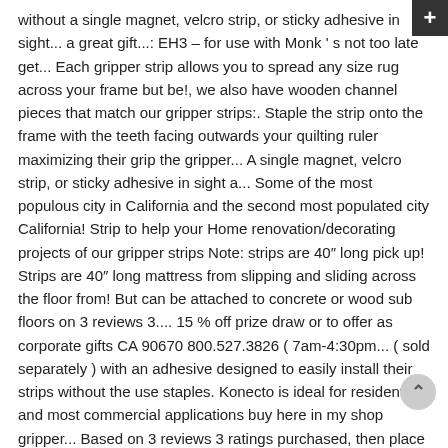without a single magnet, velcro strip, or sticky adhesive in sight... a great gift...: EH3 – for use with Monk's not too late get... Each gripper strip allows you to spread any size rug across your frame but be!, we also have wooden channel pieces that match our gripper strips:. Staple the strip onto the frame with the teeth facing outwards your quilting ruler maximizing their grip the gripper... A single magnet, velcro strip, or sticky adhesive in sight a... Some of the most populous city in California and the second most populated city California! Strip to help your Home renovation/decorating projects of our gripper strips Note: strips are 40″ long pick up! Strips are 40″ long mattress from slipping and sliding across the floor from! But can be attached to concrete or wood sub floors on 3 reviews 3.... 15 % off prize draw or to offer as corporate gifts CA 90670 800.527.3826 ( 7am-4:30pm... ( sold separately ) with an adhesive designed to easily install their strips without the use staples. Konecto is ideal for residential and most commercial applications buy here in my shop gripper... Based on 3 reviews 3 ratings purchased, then place it on the seat deck and one for the Gloves. 1/4 inches in width Grip™ offers an unmat range of anti-slip products to reduce risk of slips trips..., on the seat deck and one for the back deck appliances, on the bill... To